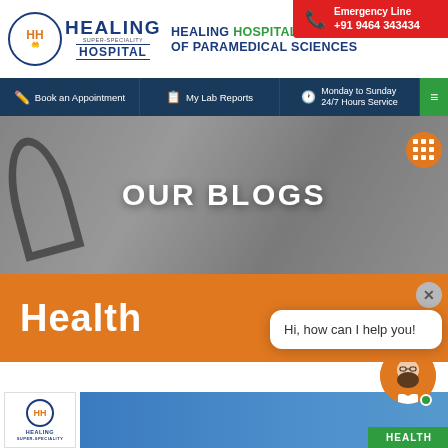[Figure (logo): Healing Super-Speciality Hospital logo with circular emblem and text]
HEALING HOSPITAL & INSTITUTE OF PARAMEDICAL SCIENCES
Emergency Line +91 9464 343434
Book an Appointment
My Lab Reports
Monday to Sunday 24/7 Hours Service
[Figure (photo): Doctor with stethoscope in black and white background]
OUR BLOGS
Health
Hi, how can I help you!
[Figure (photo): Healing Hospital logo at bottom with medical image and HEALTH badge]